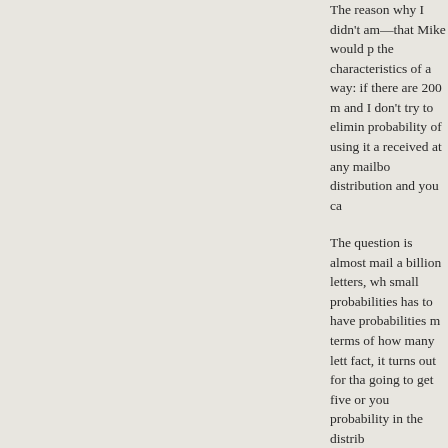The reason why I didn't am—that Mike would p the characteristics of a way: if there are 200 m and I don't try to elimin probability of using it a received at any mailbo distribution and you ca
The question is almost mail a billion letters, wh small probabilities has to have probabilities m terms of how many lett fact, it turns out for tha going to get five or you probability in the distrib
In the case of Mike, it t enormously—every ura probability that a tran